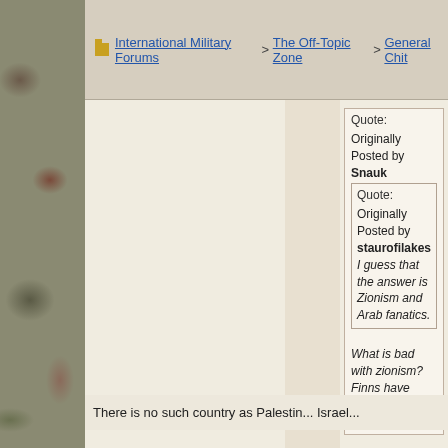International Military Forums > The Off-Topic Zone > General Chit
Quote:
Originally Posted by Snauk
Quote:
Originally Posted by staurofilakes
I guess that the answer is Zionism and Arab fanatics.
What is bad with zionism? Finns have there own country, why not Jews?
because finland is the natural h... same for palestinians,jews don't...
There is no such country as Palestin... Israel...